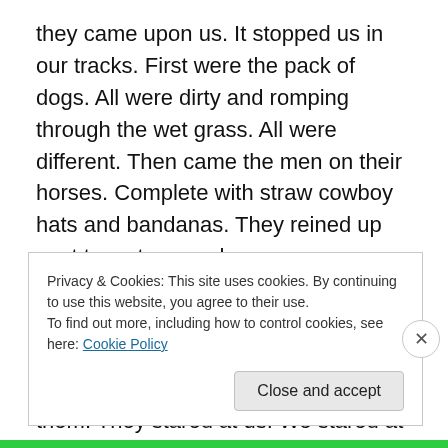they came upon us. It stopped us in our tracks. First were the pack of dogs. All were dirty and romping through the wet grass. All were different. Then came the men on their horses. Complete with straw cowboy hats and bandanas. They reined up next to us to see who we were.
They asked if we had seen an
y head of cow in this area. They told us they had only 54 but need to pen them. They stared at us. We stared at them.
Privacy & Cookies: This site uses cookies. By continuing to use this website, you agree to their use.
To find out more, including how to control cookies, see here: Cookie Policy